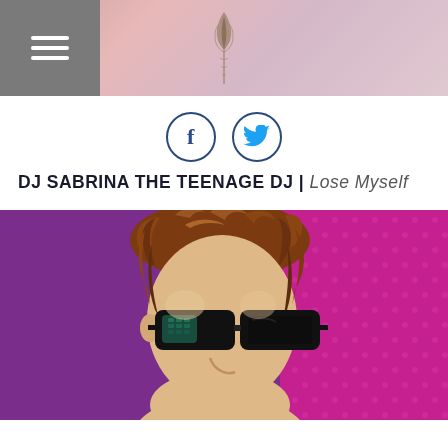Header bar with hamburger menu and crown logo
[Figure (illustration): Social media icons: Facebook (f) and Twitter (bird) in circular outlines]
DJ SABRINA THE TEENAGE DJ | Lose Myself
[Figure (illustration): Pop-art style illustration of a woman with curly brown hair and black sunglasses against a purple/magenta background with halftone dots]